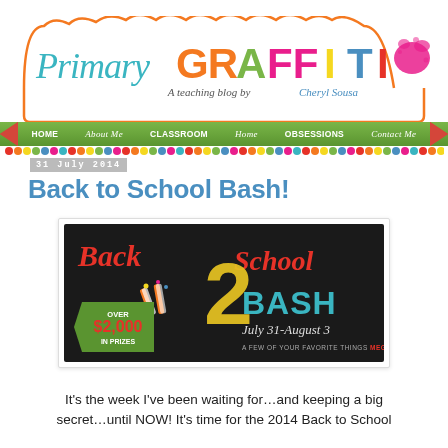[Figure (logo): Primary GRAFFITI blog logo with cloud border, colorful graffiti-style text, subtitle 'A teaching blog by Cheryl Sousa', navigation bar with HOME, About Me, CLASSROOM, Home, OBSESSIONS, Contact Me, and decorative dot row below]
31 July 2014
Back to School Bash!
[Figure (illustration): Back 2 School BASH promotional banner on dark chalkboard background. Text reads 'Back School' in red script, large '2' in yellow with texture, 'BASH' in cyan block letters, 'July 31-August 3' in script, 'A few of your favorite things MEGA GIVEAWAY', green tag showing 'OVER $2,000 IN PRIZES' with orange and white striped party horns.]
It's the week I've been waiting for…and keeping a big secret…until NOW! It's time for the 2014 Back to School